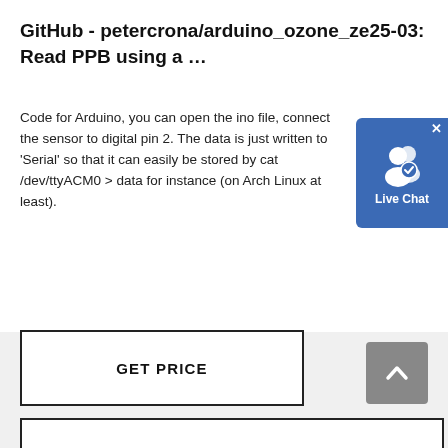GitHub - petercrona/arduino_ozone_ze25-03: Read PPB using a …
Code for Arduino, you can open the ino file, connect the sensor to digital pin 2. The data is just written to 'Serial' so that it can easily be stored by cat /dev/ttyACM0 > data for instance (on Arch Linux at least).
[Figure (other): GET PRICE button — rectangular outlined button with bold uppercase text]
[Figure (other): CHAT WITH WHATSAPP button — rectangular outlined button with bold uppercase text]
[Figure (other): Live Chat widget — blue rounded rectangle with two-person icon and 'Live Chat' label]
[Figure (other): Scroll-to-top button — grey square with upward chevron arrow]
[Figure (other): Grey content area at the bottom of the page]